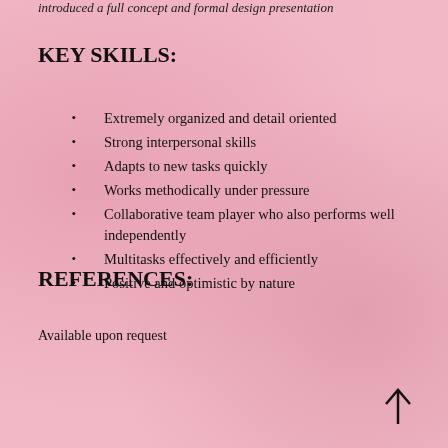introduced a full concept and formal design presentation
KEY SKILLS:
Extremely organized and detail oriented
Strong interpersonal skills
Adapts to new tasks quickly
Works methodically under pressure
Collaborative team player who also performs well independently
Multitasks effectively and efficiently
Positive and optimistic by nature
REFERENCES:
Available upon request